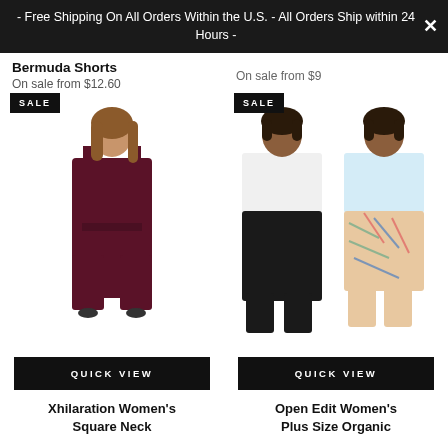- Free Shipping On All Orders Within the U.S. - All Orders Ship within 24 Hours -
Bermuda Shorts
On sale from $12.60
On sale from $9
[Figure (photo): SALE badge with image of a girl wearing a dark burgundy/wine square neck wide-leg jumpsuit]
[Figure (photo): SALE badge with two models wearing white/light blue crop tops, one with black wide-leg bermuda shorts and one with patterned floral bermuda shorts]
QUICK VIEW
QUICK VIEW
Xhilaration Women's Square Neck
Open Edit Women's Plus Size Organic